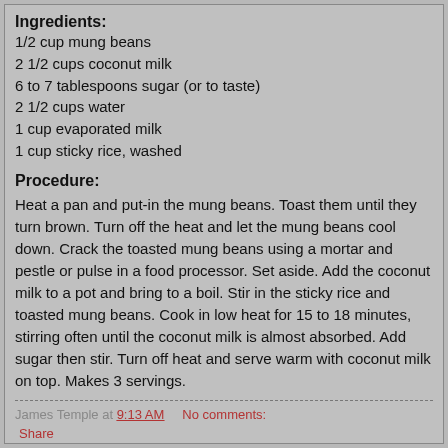Ingredients:
1/2 cup mung beans
2 1/2 cups coconut milk
6 to 7 tablespoons sugar (or to taste)
2 1/2 cups water
1 cup evaporated milk
1 cup sticky rice, washed
Procedure:
Heat a pan and put-in the mung beans. Toast them until they turn brown. Turn off the heat and let the mung beans cool down. Crack the toasted mung beans using a mortar and pestle or pulse in a food processor. Set aside. Add the coconut milk to a pot and bring to a boil. Stir in the sticky rice and toasted mung beans. Cook in low heat for 15 to 18 minutes, stirring often until the coconut milk is almost absorbed. Add sugar then stir. Turn off heat and serve warm with coconut milk on top. Makes 3 servings.
James Temple at 9:13 AM   No comments:   Share